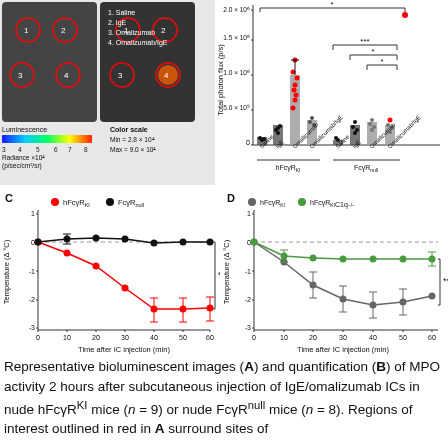[Figure (photo): Bioluminescent images of two mice (Panel A) with numbered injection sites circled in red, labeled 1.Saline, 2.IgE, 3.Omalizumab, 4.Omalizumab/IgE, with luminescence color scale bar showing Min=2.8×10^4, Max=9.0×10^4, Radiance ×10^4 (p/sec/cm²/sr)]
[Figure (bar-chart): Bar chart of total photon flux for hFcyR KI and FcyR null groups with scatter dots and significance markers * and ***]
[Figure (line-chart): C - Temperature over time]
[Figure (line-chart): D - Temperature over time]
Representative bioluminescent images (A) and quantification (B) of MPO activity 2 hours after subcutaneous injection of IgE/omalizumab ICs in nude hFcγRKI mice (n = 9) or nude FcγRnull mice (n = 8). Regions of interest outlined in red in A surround sites of